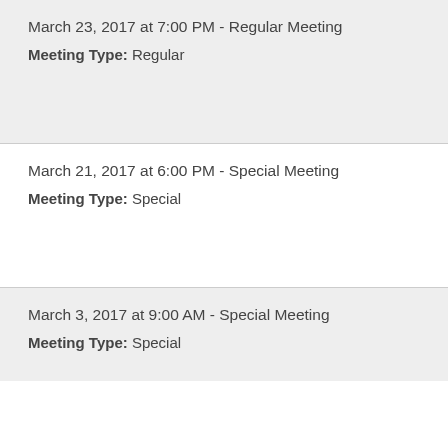March 23, 2017 at 7:00 PM - Regular Meeting
Meeting Type: Regular
March 21, 2017 at 6:00 PM - Special Meeting
Meeting Type: Special
March 3, 2017 at 9:00 AM - Special Meeting
Meeting Type: Special